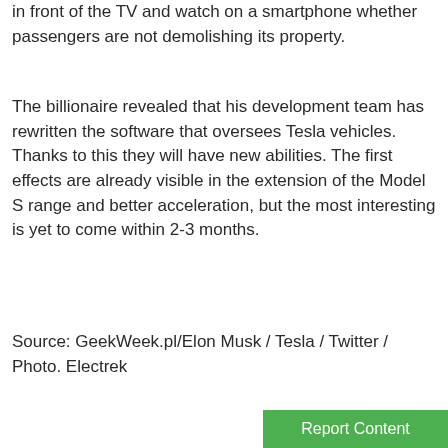in front of the TV and watch on a smartphone whether passengers are not demolishing its property.
The billionaire revealed that his development team has rewritten the software that oversees Tesla vehicles. Thanks to this they will have new abilities. The first effects are already visible in the extension of the Model S range and better acceleration, but the most interesting is yet to come within 2-3 months.
Source: GeekWeek.pl/Elon Musk / Tesla / Twitter / Photo. Electrek